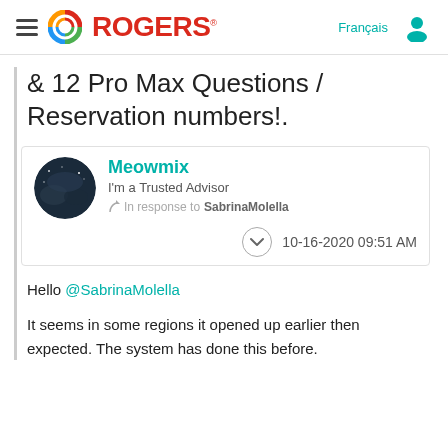[Figure (logo): Rogers logo with colorful circular icon and red ROGERS text]
& 12 Pro Max Questions / Reservation numbers!.
Meowmix
I'm a Trusted Advisor
In response to SabrinaMolella
10-16-2020 09:51 AM
Hello @SabrinaMolella

It seems in some regions it opened up earlier then expected. The system has done this before.